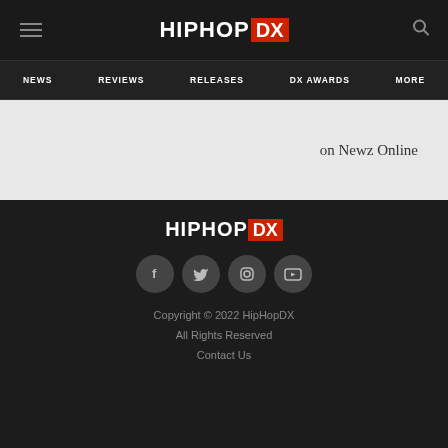HIPHOP DX
NEWS  REVIEWS  RELEASES  DX AWARDS  MORE
on Newz Online
[Figure (logo): HipHopDX logo in footer]
[Figure (infographic): Social media icons: Facebook, Twitter, Instagram, YouTube]
Copyright © 2022 HipHopDX
All Rights Reserved
Contact Us